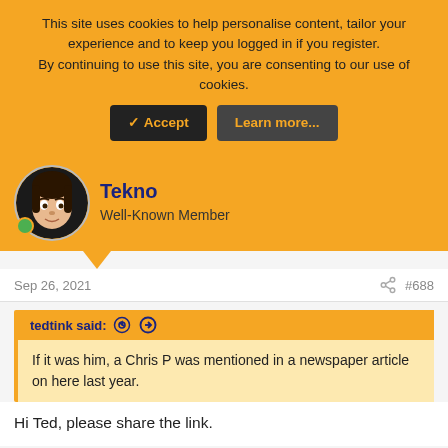This site uses cookies to help personalise content, tailor your experience and to keep you logged in if you register. By continuing to use this site, you are consenting to our use of cookies.
Tekno
Well-Known Member
Sep 26, 2021
#688
tedtink said:
If it was him, a Chris P was mentioned in a newspaper article on here last year.
Hi Ted, please share the link.